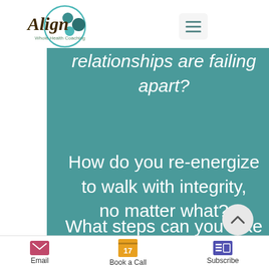[Figure (logo): Align Whole Health Coaching logo with circular teal design and script text]
relationships are failing apart?
How do you re-energize to walk with integrity, no matter what?
What steps can you take
Email   Book a Call   Subscribe